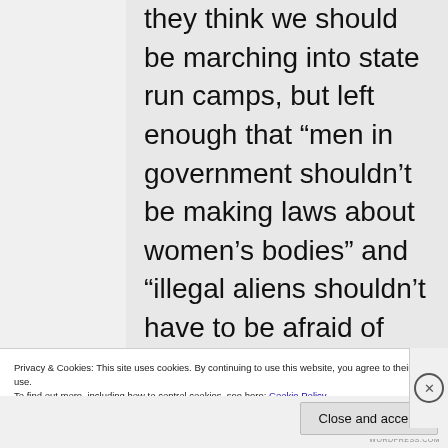they think we should be marching into state run camps, but left enough that “men in government shouldn’t be making laws about women’s bodies” and “illegal aliens shouldn’t have to be afraid of being arrested”, which is pretty left. They plan on moving to Washington or Oregon once he becomes a citizen and can serve in the Navy, so they will
Privacy & Cookies: This site uses cookies. By continuing to use this website, you agree to their use.
To find out more, including how to control cookies, see here: Cookie Policy
Close and accept